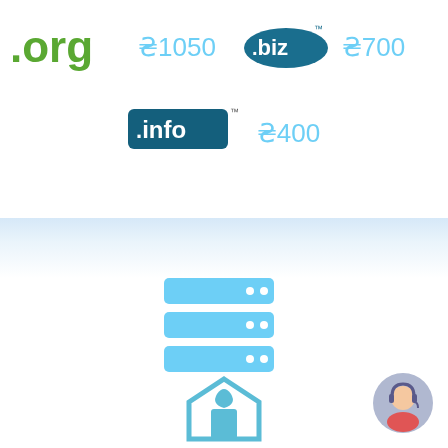[Figure (logo): .org logo in green text style]
₴1050
[Figure (logo): .biz logo in dark teal oval badge]
₴700
[Figure (logo): .info logo in dark teal rectangle badge]
₴400
[Figure (infographic): Three stacked server/database bars in light blue with dots on right side]
[Figure (infographic): Customer support avatar icon in bottom right corner - person with headset in circular badge]
[Figure (infographic): Domain/hosting icon at bottom center - stylized house/key symbol in blue]